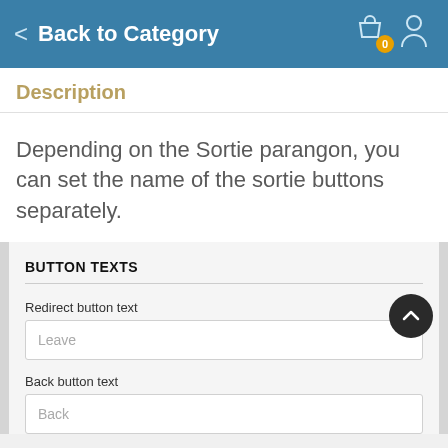Back to Category
Description
Depending on the Sortie parangon, you can set the name of the sortie buttons separately.
BUTTON TEXTS
Redirect button text
Leave
Back button text
Back